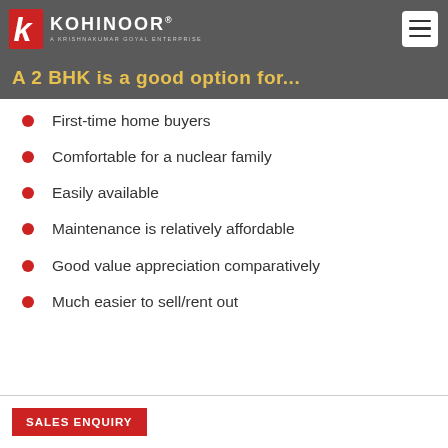KOHINOOR — A KRISHNAKUMAR GOYAL ENTERPRISE
A 2 BHK is a good option for...
First-time home buyers
Comfortable for a nuclear family
Easily available
Maintenance is relatively affordable
Good value appreciation comparatively
Much easier to sell/rent out
SALES ENQUIRY